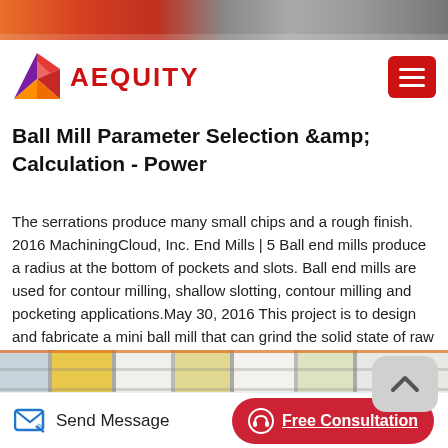[Figure (photo): Top banner image strip showing industrial/manufacturing scene with orange and dark tones]
AEQUITY
Ball Mill Parameter Selection &amp; Calculation - Power
The serrations produce many small chips and a rough finish. 2016 MachiningCloud, Inc. End Mills | 5 Ball end mills produce a radius at the bottom of pockets and slots. Ball end mills are used for contour milling, shallow slotting, contour milling and pocketing applications.May 30, 2016 This project is to design and fabricate a mini ball mill that can grind the solid state of raw materials into fine powder. Ball mill is a cylindrical device that used to grind and blend raw ...
[Figure (photo): Bottom banner image strip showing building facades with yellow and white panels]
Send Message | Free Consultation